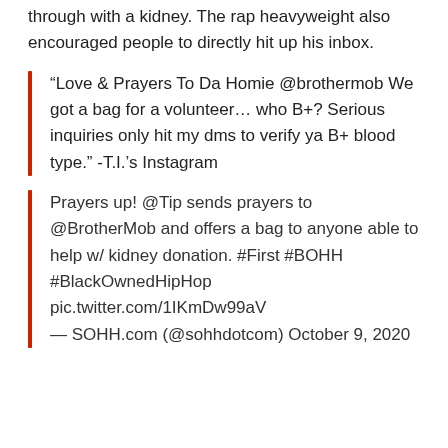through with a kidney. The rap heavyweight also encouraged people to directly hit up his inbox.
“Love & Prayers To Da Homie @brothermob We got a bag for a volunteer… who B+? Serious inquiries only hit my dms to verify ya B+ blood type.” -T.I.’s Instagram
Prayers up! @Tip sends prayers to @BrotherMob and offers a bag to anyone able to help w/ kidney donation. #First #BOHH #BlackOwnedHipHop pic.twitter.com/1IKmDw99aV — SOHH.com (@sohhdotcom) October 9, 2020